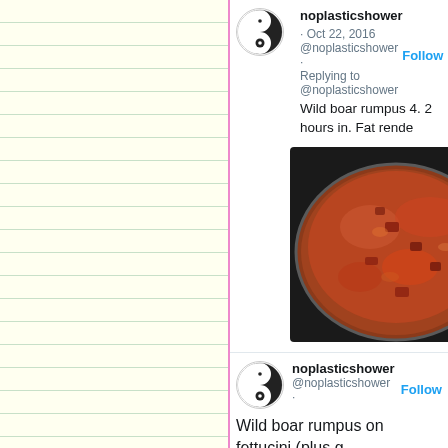[Figure (screenshot): Screenshot of a Twitter/social media feed showing two tweets by user 'noplasticshower'. First tweet dated Oct 22, 2016 with text 'Wild boar rumpus 4. 2 hours in. Fat rende...' and a photo of a pan with cooking meat stew. Second tweet by same user with text 'Wild boar rumpus on fettucini (plus g... asiago)with broccolini'. Background shows yellow lined notebook paper on the left side.]